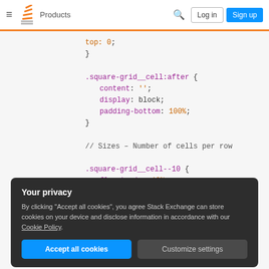Stack Overflow navigation bar with Products, Search, Log in, Sign up
.square-grid__cell:after {
    content: '';
    display: block;
    padding-bottom: 100%;
}

// Sizes – Number of cells per row

.square-grid__cell--10 {
    flex-basis: 10%;
}
Your privacy
By clicking "Accept all cookies", you agree Stack Exchange can store cookies on your device and disclose information in accordance with our Cookie Policy.
Accept all cookies  Customize settings